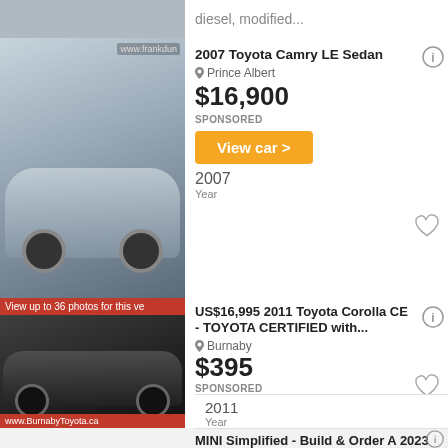diesel, modified...
2007 Toyota Camry LE Sedan
Prince Albert
$16,900
SPONSORED
View car >
2007
Year
[Figure (photo): Silver 2007 Toyota Camry LE Sedan parked in a lot, dealership in background with www.frankdun... watermark]
US$16,995 2011 Toyota Corolla CE - TOYOTA CERTIFIED with...
Burnaby
$395
SPONSORED
View car >
2011
Year
[Figure (photo): Dark 2011 Toyota Corolla CE in a lot, red banner at bottom with www.BurnabyToyota.ca, red banner reading 'View up to 36 photos for this ve']
MINI Simplified - Build & Order A 2023 MINI - Build Your MINI Today